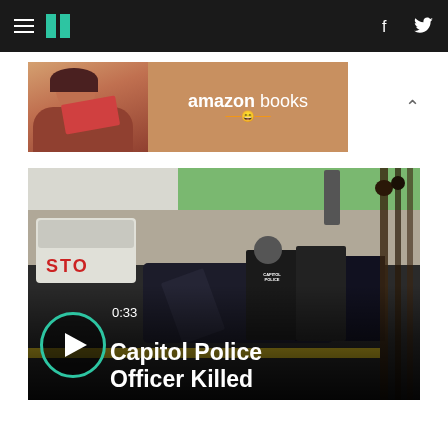HuffPost navigation header with hamburger menu, HuffPost logo, Facebook and Twitter icons
[Figure (photo): Amazon Books advertisement banner with a person reading a book on the left and the Amazon Books logo on the right]
BEFORE YOU GO
[Figure (screenshot): Video thumbnail showing Capitol Police at a crime scene with cars, police tape, and officers. Play button overlay shows 0:33 duration. Title reads 'Capitol Police Officer Killed']